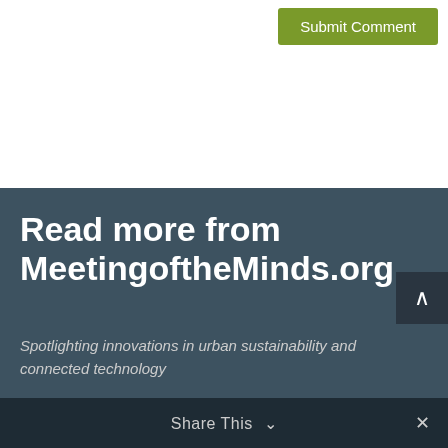[Figure (screenshot): Green 'Submit Comment' button in upper right area]
Read more from MeetingoftheMinds.org
Spotlighting innovations in urban sustainability and connected technology
Share This ∨  ✕